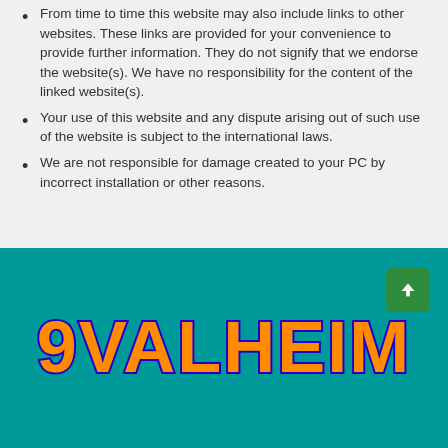From time to time this website may also include links to other websites. These links are provided for your convenience to provide further information. They do not signify that we endorse the website(s). We have no responsibility for the content of the linked website(s).
Your use of this website and any dispute arising out of such use of the website is subject to the international laws.
We are not responsible for damage created to your PC by incorrect installation or other reasons.
[Figure (logo): 9VALHEIM logo in large bold orange text with dark blue outline on teal background, with a green scroll-to-top button in the upper right corner]